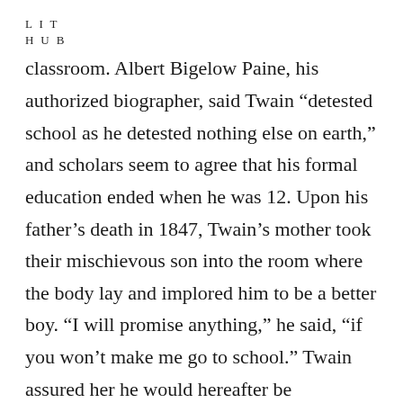LIT
HUB
classroom. Albert Bigelow Paine, his authorized biographer, said Twain “detested school as he detested nothing else on earth,” and scholars seem to agree that his formal education ended when he was 12. Upon his father’s death in 1847, Twain’s mother took their mischievous son into the room where the body lay and implored him to be a better boy. “I will promise anything,” he said, “if you won’t make me go to school.” Twain assured her he would hereafter be industrious and responsible, and forswear alcohol (but not tobacco). Twain’s mother consented. He never darkened a schoolhouse